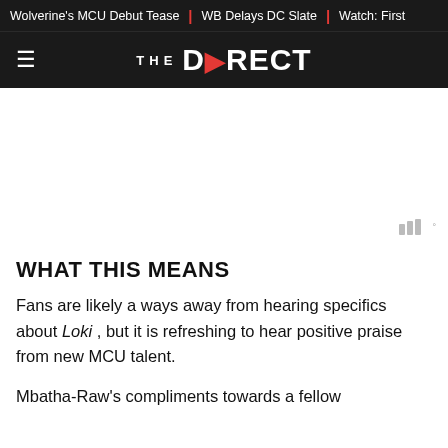Wolverine's MCU Debut Tease | WB Delays DC Slate | Watch: First
THE DIRECT
[Figure (other): Advertisement placeholder area with Moat ad verification badge]
WHAT THIS MEANS
Fans are likely a ways away from hearing specifics about Loki , but it is refreshing to hear positive praise from new MCU talent.
Mbatha-Raw's compliments towards a fellow